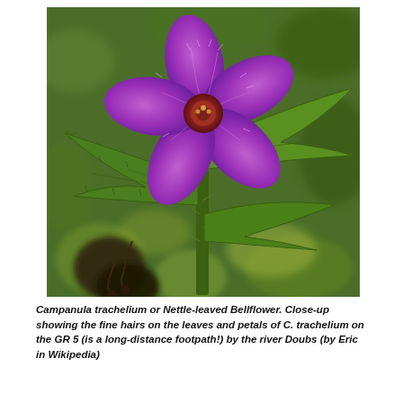[Figure (photo): Close-up photograph of Campanula trachelium (Nettle-leaved Bellflower) showing a star-shaped purple/violet flower with fine hairs on the petals, surrounded by green hairy leaves, with blurred green foliage in the background.]
Campanula trachelium or Nettle-leaved Bellflower. Close-up showing the fine hairs on the leaves and petals of C. trachelium on the GR 5 (is a long-distance footpath!) by the river Doubs (by Eric in Wikipedia)